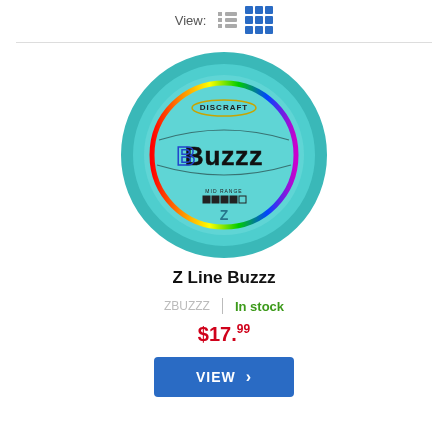[Figure (other): View toggle controls: list view icon (gray) and grid view icon (blue), with 'View:' label]
[Figure (photo): Discraft Z Line Buzzz disc golf disc in teal/cyan color with rainbow foil stamp and Buzzz logo]
Z Line Buzzz
ZBUZZZ | In stock
$17.99
VIEW >